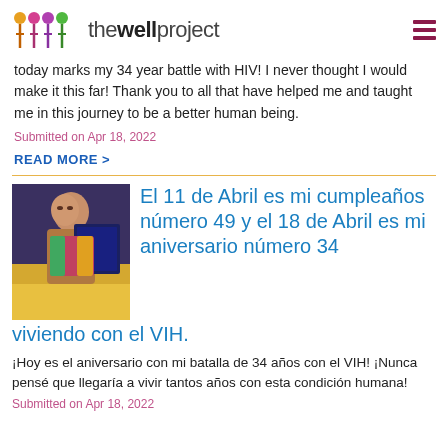thewellproject
today marks my 34 year battle with HIV! I never thought I would make it this far! Thank you to all that have helped me and taught me in this journey to be a better human being.
Submitted on Apr 18, 2022
READ MORE >
[Figure (photo): Woman standing at a conference table holding a large display board]
El 11 de Abril es mi cumpleaños número 49 y el 18 de Abril es mi aniversario número 34 viviendo con el VIH.
¡Hoy es el aniversario con mi batalla de 34 años con el VIH! ¡Nunca pensé que llegaría a vivir tantos años con esta condición humana!
Submitted on Apr 18, 2022